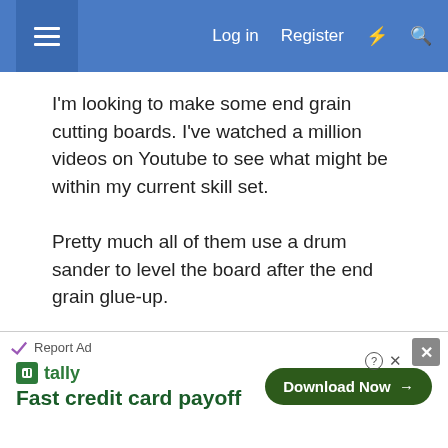≡   Log in   Register   ⚡   🔍
I'm looking to make some end grain cutting boards. I've watched a million videos on Youtube to see what might be within my current skill set.
Pretty much all of them use a drum sander to level the board after the end grain glue-up.
And.. most videos say don't use a thicknesser on end grain as it's dangerous.
I have a Triton thicknesser arriving next week.
So.. could someone explain why its dangerous and if there are any ways around this or alternative ways of
Report Ad
tally Fast credit card payoff   Download Now →